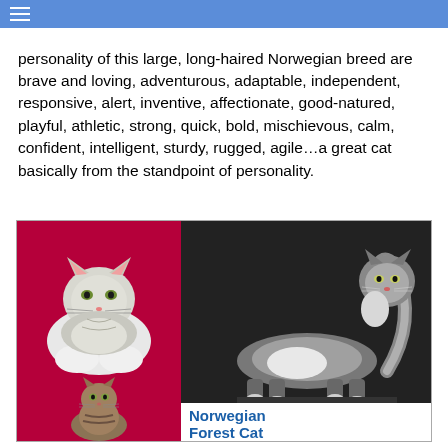☰
personality of this large, long-haired Norwegian breed are brave and loving, adventurous, adaptable, independent, responsive, alert, inventive, affectionate, good-natured, playful, athletic, strong, quick, bold, mischievous, calm, confident, intelligent, sturdy, rugged, agile…a great cat basically from the standpoint of personality.
[Figure (photo): Collage of three Norwegian Forest Cat photos: top-left shows a fluffy white and gray cat lying on a red surface, top-right shows a gray and white cat standing in profile on a dark background, bottom-left shows a tabby Norwegian Forest Cat sitting on a red surface. Bottom-right has text 'Norwegian Forest Cat' in blue bold.]
Norwegian Forest Cat